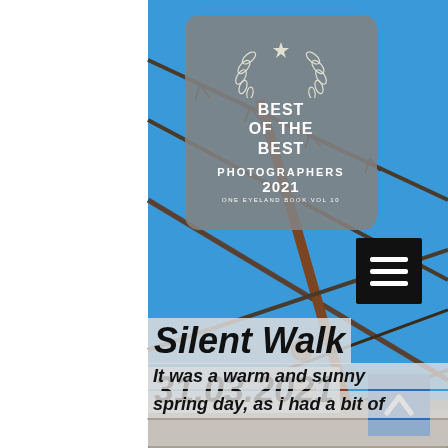[Figure (photo): Background photo of rusty barbed wire fence against a bright blue sky]
[Figure (logo): Best of the Best Photographers 2021 badge on grey rounded rectangle background. Text: BEST OF THE BEST PHOTOGRAPHERS 2021 ONE EYELAND BOOK VOL 10]
Silent Walk 31.03.2021
It was a warm and sunny spring day, as i had a bit of